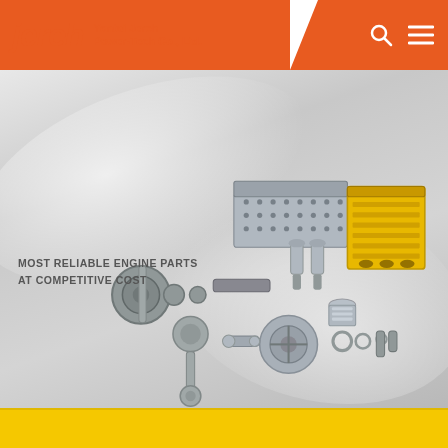Jereh — Yantai Jereh Power-Tech Co., Ltd.
[Figure (photo): Product photo showing various diesel engine parts including cylinder head, engine block (yellow), crankshaft, connecting rods, pistons, bearings, valves, water pump, and other engine components arranged on a grey gradient background.]
MOST RELIABLE ENGINE PARTS
AT COMPETITIVE COST